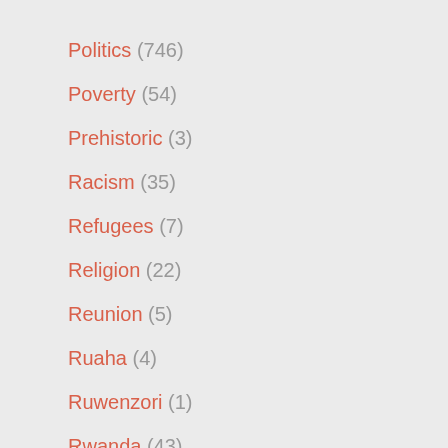Politics (746)
Poverty (54)
Prehistoric (3)
Racism (35)
Refugees (7)
Religion (22)
Reunion (5)
Ruaha (4)
Ruwenzori (1)
Rwanda (43)
Safari Lodges (27)